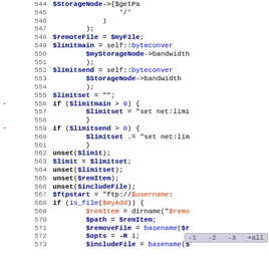[Figure (screenshot): Source code diff view showing PHP code lines 544-573 with line numbers, diff markers (-), and syntax highlighting in monospace font. Code includes variables like $StorageNode, $remoteFile, $limitmain, $limitsend, $limitset, $ftpstart, $remItem, $path, $removeFile, $opts, $includeFile with PHP syntax coloring. A tooltip overlay is visible near the bottom showing '-1 -2 -3 +all'.]